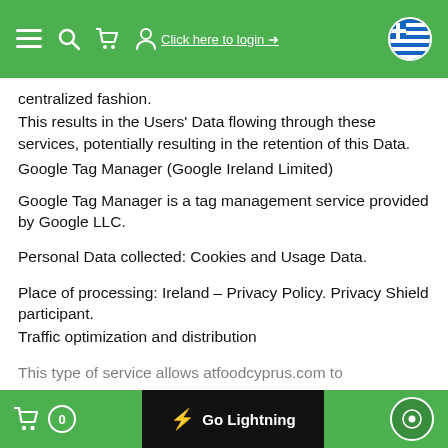Click here to login
centralized fashion.
This results in the Users' Data flowing through these services, potentially resulting in the retention of this Data.
Google Tag Manager (Google Ireland Limited)
Google Tag Manager is a tag management service provided by Google LLC.
Personal Data collected: Cookies and Usage Data.
Place of processing: Ireland – Privacy Policy. Privacy Shield participant.
Traffic optimization and distribution
This type of service allows atfoodcyprus.com to
0  Go Lightning